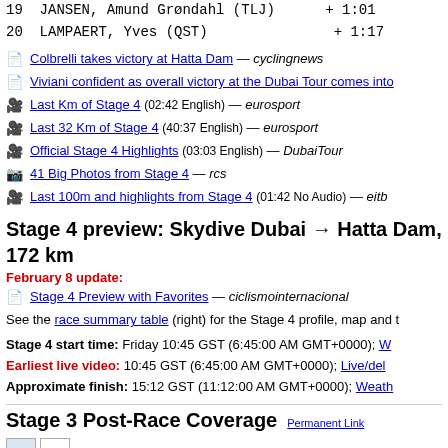19  JANSEN, Amund Grøndahl (TLJ)       + 1:01
20  LAMPAERT, Yves (QST)                + 1:17
Colbrelli takes victory at Hatta Dam — cyclingnews
Viviani confident as overall victory at the Dubai Tour comes into
Last Km of Stage 4 (02:42 English) — eurosport
Last 32 Km of Stage 4 (40:37 English) — eurosport
Official Stage 4 Highlights (03:03 English) — DubaiTour
41 Big Photos from Stage 4 — rcs
Last 100m and highlights from Stage 4 (01:42 No Audio) — eitb
Stage 4 preview: Skydive Dubai → Hatta Dam, 172 km
February 8 update:
Stage 4 Preview with Favorites — ciclismointernacional
See the race summary table (right) for the Stage 4 profile, map and t
Stage 4 start time: Friday 10:45 GST (6:45:00 AM GMT+0000); W
Earliest live video: 10:45 GST (6:45:00 AM GMT+0000); Live/del
Approximate finish: 15:12 GST (11:12:00 AM GMT+0000); Weath
Stage 3 Post-Race Coverage
Permanent Link